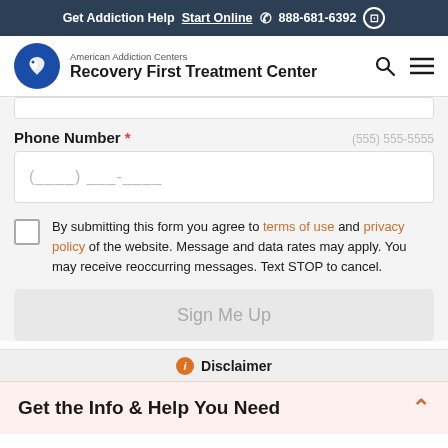Get Addiction Help  Start Online  888-681-6392
[Figure (logo): American Addiction Centers - Recovery First Treatment Center logo with blue circle and dove icon]
Phone Number * (555) 555-5555
(__) ___-____
By submitting this form you agree to terms of use and privacy policy of the website. Message and data rates may apply. You may receive reoccurring messages. Text STOP to cancel.
Sign Me Up
Disclaimer
Get the Info & Help You Need